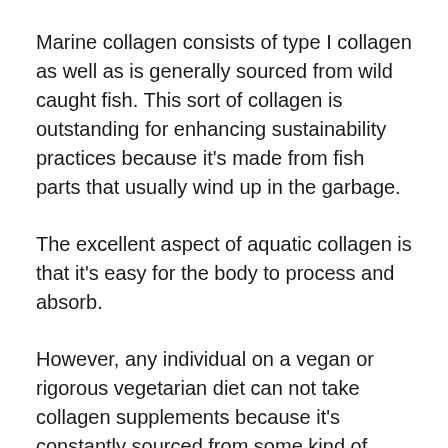Marine collagen consists of type I collagen as well as is generally sourced from wild caught fish. This sort of collagen is outstanding for enhancing sustainability practices because it's made from fish parts that usually wind up in the garbage.
The excellent aspect of aquatic collagen is that it's easy for the body to process and absorb.
However, any individual on a vegan or rigorous vegetarian diet can not take collagen supplements because it's constantly sourced from some kind of animal product.